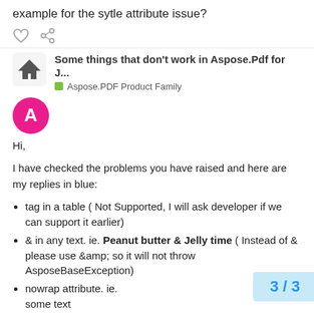example for the sytle attribute issue?
[Figure (other): Reaction icons: heart and share]
Some things that don't work in Aspose.Pdf for J...
Aspose.PDF Product Family
[Figure (other): Avatar circle with letter A in pink]
Hi,
I have checked the problems you have raised and here are my replies in blue:
tag in a table ( Not Supported, I will ask developer if we can support it earlier)
& in any text. ie. Peanut butter & Jelly time ( Instead of & please use & so it will not throw AsposeBaseException)
nowrap attribute. ie.
some text
(I will discuss this with the developer to support it)
non-breaking space anywhere in the [text]. This caused because it includes the '&' which isn't liked by a Bug and we will try to fix it as soon as p...
3 / 3